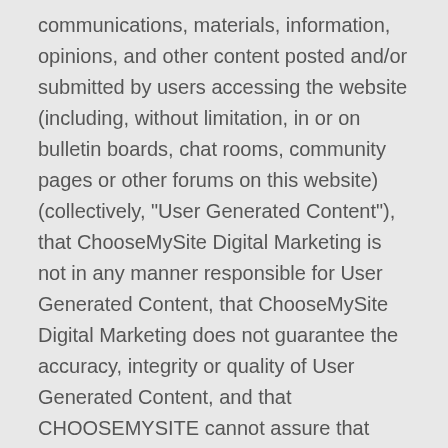communications, materials, information, opinions, and other content posted and/or submitted by users accessing the website (including, without limitation, in or on bulletin boards, chat rooms, community pages or other forums on this website) (collectively, "User Generated Content"), that ChooseMySite Digital Marketing is not in any manner responsible for User Generated Content, that ChooseMySite Digital Marketing does not guarantee the accuracy, integrity or quality of User Generated Content, and that CHOOSEMYSITE cannot assure that harmful, inaccurate, deceptive, offensive, threatening, defamatory, unlawful or otherwise objectionable User Generated Content will not appear on the Website. You acknowledge that by providing you with the ability to access and view User Generated Content on the website, CHOOSEMYSITE is merely acting as a passive conduit for such distribution and is not undertaking any obligation or liability relating to any User Generated Content or activities of users on the website. Without limiting the generality of the foregoing, you